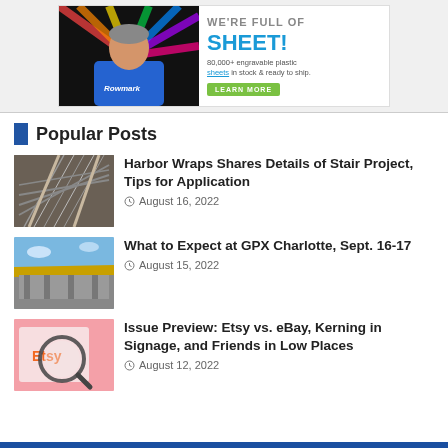[Figure (illustration): Rowmark advertisement banner: man in blue shirt with 'WE'RE FULL OF SHEET!' tagline, 80,000+ engravable plastic sheets in stock & ready to ship, LEARN MORE button]
Popular Posts
[Figure (photo): Photo of stairs viewed from below looking up, with metal railings]
Harbor Wraps Shares Details of Stair Project, Tips for Application
August 16, 2022
[Figure (photo): Photo of a building exterior with yellow/gold canopy or awning]
What to Expect at GPX Charlotte, Sept. 16-17
August 15, 2022
[Figure (photo): Photo of Etsy website shown through a magnifying glass on a pink background]
Issue Preview: Etsy vs. eBay, Kerning in Signage, and Friends in Low Places
August 12, 2022